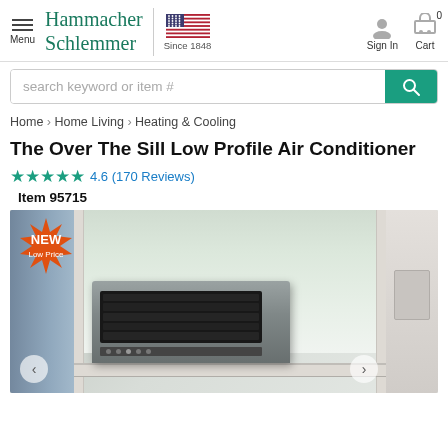Hammacher Schlemmer — Since 1848 — Sign In — Cart
search keyword or item #
Home > Home Living > Heating & Cooling
The Over The Sill Low Profile Air Conditioner
4.6 (170 Reviews)
Item 95715
[Figure (photo): Product photo of the Over The Sill Low Profile Air Conditioner installed in a window, with a 'NEW Low Price' badge in the top-left corner.]